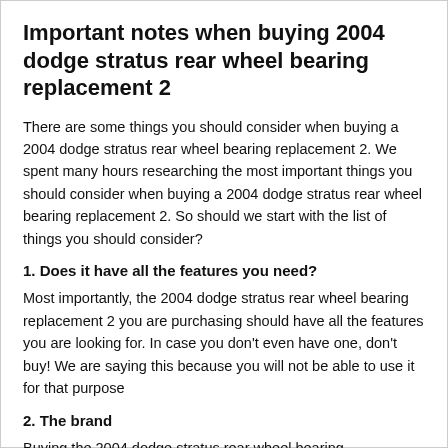Important notes when buying 2004 dodge stratus rear wheel bearing replacement 2
There are some things you should consider when buying a 2004 dodge stratus rear wheel bearing replacement 2. We spent many hours researching the most important things you should consider when buying a 2004 dodge stratus rear wheel bearing replacement 2. So should we start with the list of things you should consider?
1. Does it have all the features you need?
Most importantly, the 2004 dodge stratus rear wheel bearing replacement 2 you are purchasing should have all the features you are looking for. In case you don't even have one, don't buy! We are saying this because you will not be able to use it for that purpose
2. The brand
Buying the 2004 dodge stratus rear wheel bearing